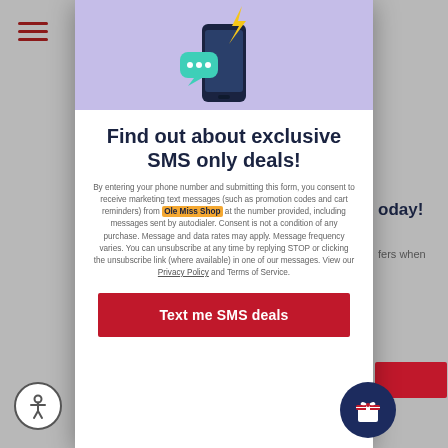[Figure (illustration): Modal popup with purple top section showing a smartphone with chat bubbles and lightning bolt emoji illustration]
Find out about exclusive SMS only deals!
By entering your phone number and submitting this form, you consent to receive marketing text messages (such as promotion codes and cart reminders) from Ole Miss Shop at the number provided, including messages sent by autodialer. Consent is not a condition of any purchase. Message and data rates may apply. Message frequency varies. You can unsubscribe at any time by replying STOP or clicking the unsubscribe link (where available) in one of our messages. View our Privacy Policy and Terms of Service.
Text me SMS deals